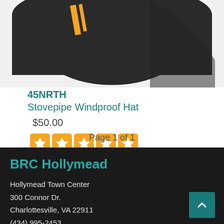[Figure (photo): Partial view of a dark/black windproof hat with orange stripe detail]
45NRTH
Stovepipe Windproof Hat
$50.00
[Figure (other): 5 orange star rating boxes]
3 Reviews
Page 1 of 1
BRC Hollymead
Hollymead Town Center
300 Connor Dr.
Charlottesville, VA 22911
(434) 995-2453